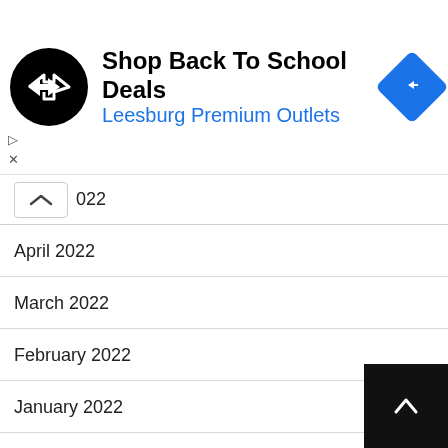[Figure (advertisement): Ad banner with black circular logo with white arrows, text 'Shop Back To School Deals / Leesburg Premium Outlets' and a blue diamond direction icon]
2022
April 2022
March 2022
February 2022
January 2022
December 2021
November 2021
October 2021
September 2021